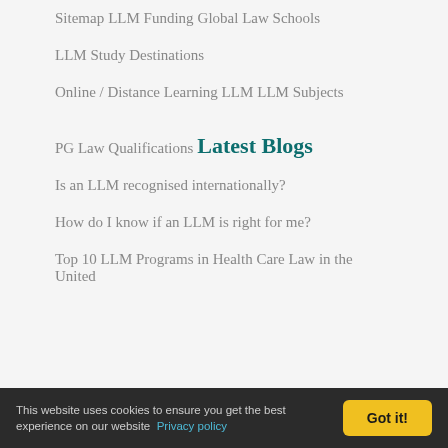Sitemap
LLM Funding
Global Law Schools
LLM Study Destinations
Online / Distance Learning LLM
LLM Subjects
PG Law Qualifications
Latest Blogs
Is an LLM recognised internationally?
How do I know if an LLM is right for me?
Top 10 LLM Programs in Health Care Law in the United
This website uses cookies to ensure you get the best experience on our website  Privacy policy